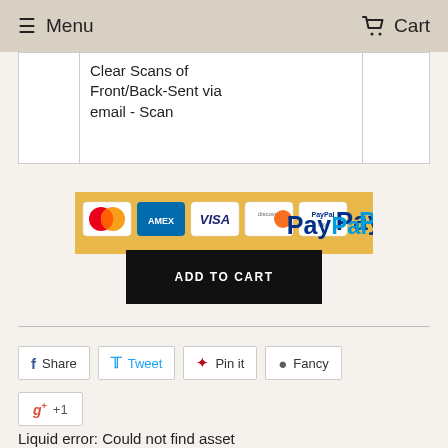Menu  Cart
|  | Clear Scans of Front/Back-Sent via email - Scan |  |
[Figure (logo): PayPal payment accepted banner showing Mastercard, Amex, Visa, Discover, PayPal card logos and PayPal blue/teal wordmark on gold background]
ADD TO CART
Share  Tweet  Pin it  Fancy
g+1  +1
Liquid error: Could not find asset